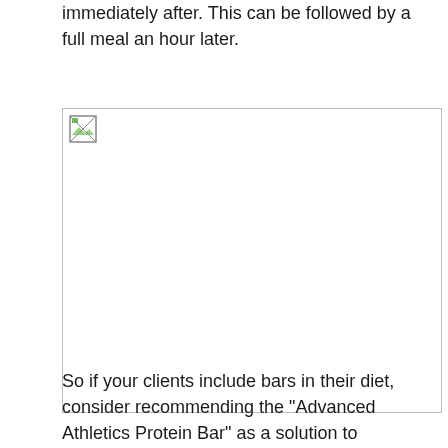immediately after.  This can be followed by a full meal an hour later.
[Figure (photo): Broken/missing image placeholder with a small icon in the top-left corner]
So if your clients include bars in their diet, consider recommending the “Advanced Athletics Protein Bar” as a solution to providing a nutrient dense food source that’s clean, convenient, and that they will love to eat.  It’s being sold online, and currently at a number of retail locations